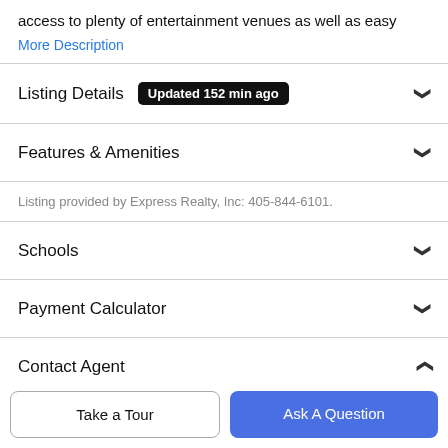access to plenty of entertainment venues as well as easy
More Description
Listing Details  Updated 152 min ago
Features & Amenities
Listing provided by Express Realty, Inc: 405-844-6101.
Schools
Payment Calculator
Contact Agent
Take a Tour
Ask A Question